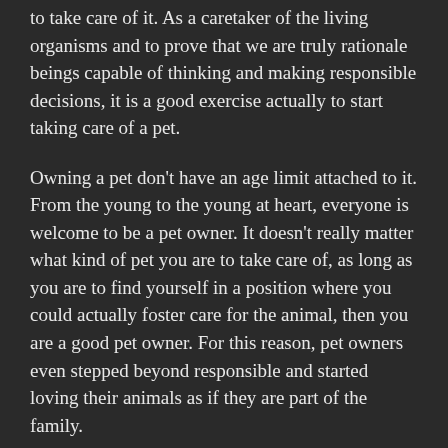to take care of it. As a caretaker of the living organisms and to prove that we are truly rationale beings capable of thinking and making responsible decisions, it is a good exercise actually to start taking care of a pet.
Owning a pet don't have an age limit attached to it. From the young to the young at heart, everyone is welcome to be a pet owner. It doesn't really matter what kind of pet you are to take care of, as long as you are to find yourself in a position where you could actually foster care for the animal, then you are a good pet owner. For this reason, pet owners even stepped beyond responsible and started loving their animals as if they are part of the family.
Clothes for dogs are becoming popular nowadays as dog shows have showcased their bravado for attention of not just their pet owners but also of others. Businesses providing clothing for dogs have made their work